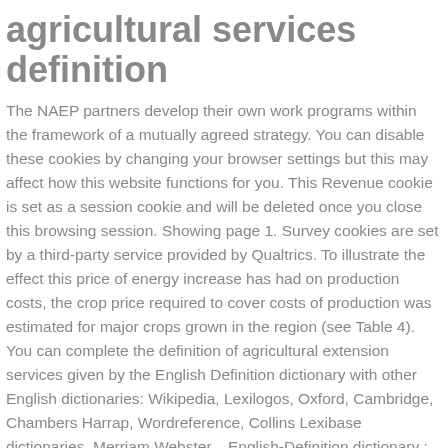agricultural services definition
The NAEP partners develop their own work programs within the framework of a mutually agreed strategy. You can disable these cookies by changing your browser settings but this may affect how this website functions for you. This Revenue cookie is set as a session cookie and will be deleted once you close this browsing session. Showing page 1. Survey cookies are set by a third-party service provided by Qualtrics. To illustrate the effect this price of energy increase has had on production costs, the crop price required to cover costs of production was estimated for major crops grown in the region (see Table 4). You can complete the definition of agricultural extension services given by the English Definition dictionary with other English dictionaries: Wikipedia, Lexilogos, Oxford, Cambridge, Chambers Harrap, Wordreference, Collins Lexibase dictionaries, Merriam Webster... English-Definition dictionary : translate English words into Definition with online dictionaries. This aspect requires serious policy consideration. The Tata Chemicals Limited started Tata Kisan Sansar (TKS) in 2002 with an objective of providing technology, information, and crop